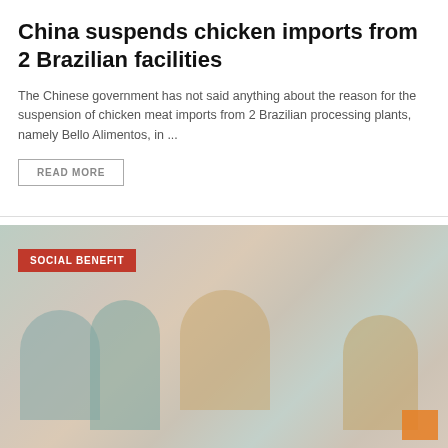China suspends chicken imports from 2 Brazilian facilities
The Chinese government has not said anything about the reason for the suspension of chicken meat imports from 2 Brazilian processing plants, namely Bello Alimentos, in ...
READ MORE
[Figure (photo): Group of women sitting on the ground outdoors, appearing to be engaged in a group activity, with a red 'SOCIAL BENEFIT' label overlay in the top-left corner]